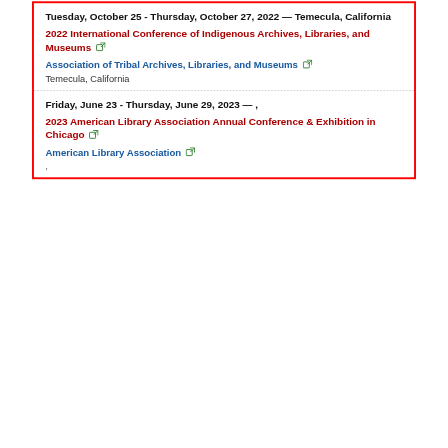Tuesday, October 25 - Thursday, October 27, 2022 — Temecula, California
2022 International Conference of Indigenous Archives, Libraries, and Museums
Association of Tribal Archives, Libraries, and Museums
Temecula, California
Friday, June 23 - Thursday, June 29, 2023 — ,
2023 American Library Association Annual Conference & Exhibition in Chicago
American Library Association
,
Recent Updates
Museums